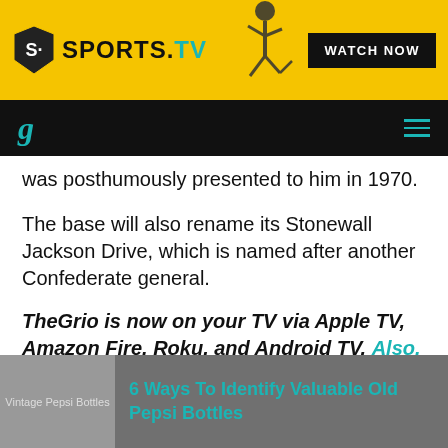[Figure (other): Sports.TV advertisement banner with yellow background, shield logo, athlete silhouette, and 'WATCH NOW' button]
g  ≡
was posthumously presented to him in 1970.
The base will also rename its Stonewall Jackson Drive, which is named after another Confederate general.
TheGrio is now on your TV via Apple TV, Amazon Fire, Roku, and Android TV. Also, please download theGrio mobile apps today!
[Figure (other): Vintage Pepsi Bottles thumbnail with link: 6 Ways To Identify Valuable Old Pepsi Bottles]